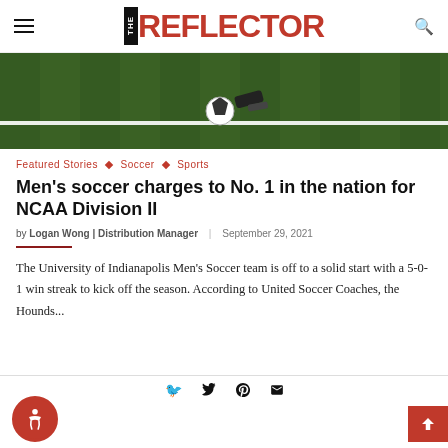THE REFLECTOR
[Figure (photo): Soccer ball near the sideline of a grass field, player's cleated foot visible]
Featured Stories ◇ Soccer ◇ Sports
Men's soccer charges to No. 1 in the nation for NCAA Division II
by Logan Wong | Distribution Manager | September 29, 2021
The University of Indianapolis Men's Soccer team is off to a solid start with a 5-0-1 win streak to kick off the season. According to United Soccer Coaches, the Hounds...